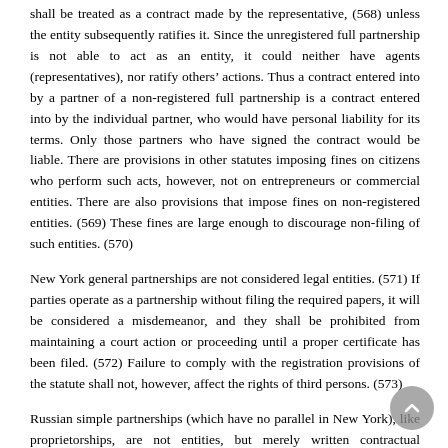shall be treated as a contract made by the representative, (568) unless the entity subsequently ratifies it. Since the unregistered full partnership is not able to act as an entity, it could neither have agents (representatives), nor ratify others' actions. Thus a contract entered into by a partner of a non-registered full partnership is a contract entered into by the individual partner, who would have personal liability for its terms. Only those partners who have signed the contract would be liable. There are provisions in other statutes imposing fines on citizens who perform such acts, however, not on entrepreneurs or commercial entities. There are also provisions that impose fines on non-registered entities. (569) These fines are large enough to discourage non-filing of such entities. (570)
New York general partnerships are not considered legal entities. (571) If parties operate as a partnership without filing the required papers, it will be considered a misdemeanor, and they shall be prohibited from maintaining a court action or proceeding until a proper certificate has been filed. (572) Failure to comply with the registration provisions of the statute shall not, however, affect the rights of third persons. (573)
Russian simple partnerships (which have no parallel in New York), like proprietorships, are not entities, but merely written contractual relationships between the partners. (574) They need not be registered, and are